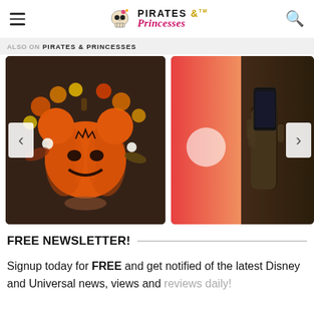PIRATES & Princesses
ALSO ON PIRATES & PRINCESSES
[Figure (photo): Carousel with two images: left shows a Mickey Mouse pumpkin decoration with autumn flowers; right shows a partial red/orange gradient image with a hand holding a phone]
FREE NEWSLETTER!
Signup today for FREE and get notified of the latest Disney and Universal news, views and reviews daily!